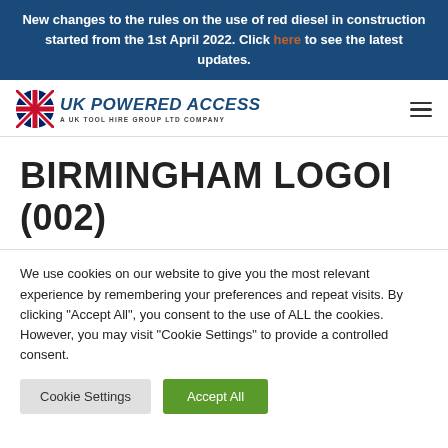New changes to the rules on the use of red diesel in construction started from the 1st April 2022. Click here to see the latest updates.
[Figure (logo): UK Powered Access logo with UK flag icon and text 'A UK Tool Hire Group Ltd Company']
BIRMINGHAM LOGOI (002)
We use cookies on our website to give you the most relevant experience by remembering your preferences and repeat visits. By clicking "Accept All", you consent to the use of ALL the cookies. However, you may visit "Cookie Settings" to provide a controlled consent.